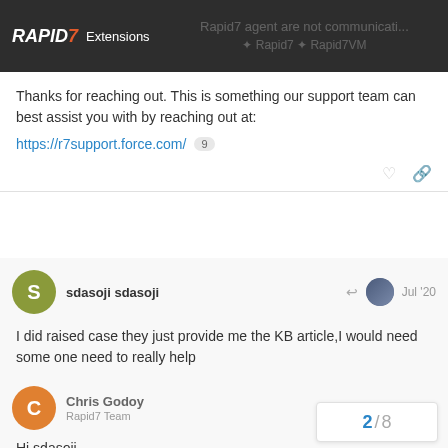RAPID7 Extensions | Rapid7 agent are not communicati... | Rapid7
Thanks for reaching out. This is something our support team can best assist you with by reaching out at: https://r7support.force.com/ 9
sdasoji sdasoji | Jul '20
I did raised case they just provide me the KB article,I would need some one need to really help
Chris Godoy
Rapid7 Team | Jul '20
Hi sdasoji,